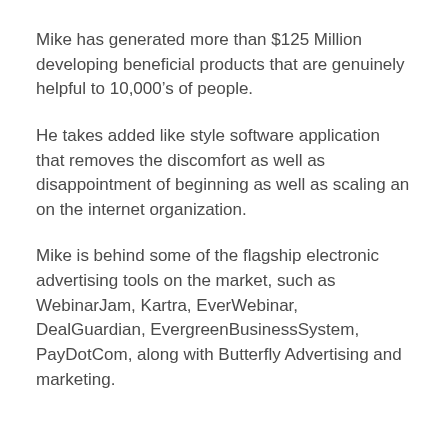Mike has generated more than $125 Million developing beneficial products that are genuinely helpful to 10,000’s of people.
He takes added like style software application that removes the discomfort as well as disappointment of beginning as well as scaling an on the internet organization.
Mike is behind some of the flagship electronic advertising tools on the market, such as WebinarJam, Kartra, EverWebinar, DealGuardian, EvergreenBusinessSystem, PayDotCom, along with Butterfly Advertising and marketing.